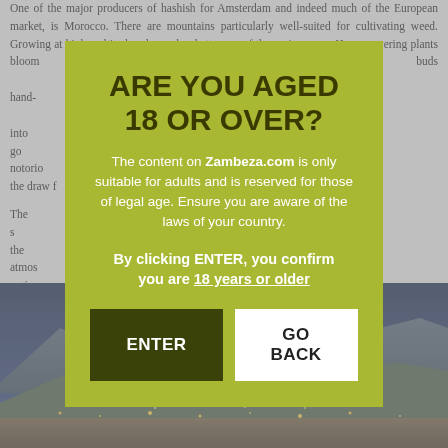One of the major producers of hashish for Amsterdam and indeed much of the European market, is Morocco. There are mountains particularly well-suited for cultivating weed. Growing at higher altitudes also makes better use of the sun's energy. Huge, towering plants bloom from which buds [...]through hand-[...]ressed into go[...]icularly notorio[...]en the draw f[...]
The s[...] in the atmos[...]esertic region[...] It will not ta[...]ook-up you ca[...] Since it's so [...]remier growin[...] it can surpris[...]ever to be dis[...]
[Figure (photo): Aerial/elevated view of a city with mountains in background, appearing to be a Moroccan city (Chefchaouen or similar), photographed at dusk or dawn with city lights visible.]
ARE YOU AGED 18 OR OVER?
The content on Zambeza.com is only suitable for adults and is reserved for those of legal age. Ensure you are aware of the laws of your country.
By clicking ENTER, you confirm you are 18 years or older